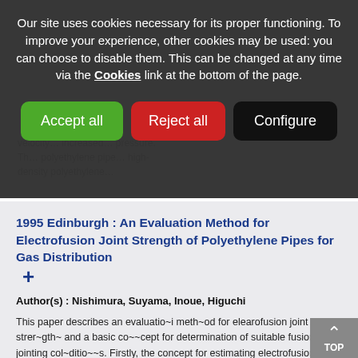Our site uses cookies necessary for its proper functioning. To improve your experience, other cookies may be used: you can choose to disable them. This can be changed at any time via the Cookies link at the bottom of the page.
Accept all | Reject all | Configure
1995 Edinburgh : An Evaluation Method for Electrofusion Joint Strength of Polyethylene Pipes for Gas Distribution +
Author(s) : Nishimura, Suyama, Inoue, Higuchi
This paper describes an evaluatio~i meth~od for elearofusion joint strer~gth~ and a basic co~~cept for determination of suitable fusion jointing col~ditio~~s. Firstly, the concept for estimating electrofusion joint strength is indicated. As an